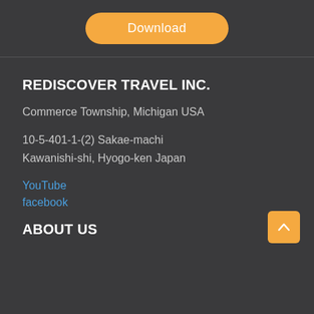[Figure (other): Orange rounded rectangle Download button]
REDISCOVER TRAVEL INC.
Commerce Township, Michigan USA
10-5-401-1-(2) Sakae-machi
Kawanishi-shi, Hyogo-ken Japan
YouTube
facebook
ABOUT US